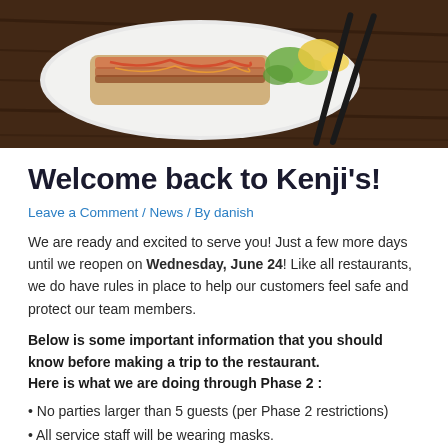[Figure (photo): Food photo: plated Japanese dish with sauces on a white plate with chopsticks on dark wood surface]
Welcome back to Kenji's!
Leave a Comment / News / By danish
We are ready and excited to serve you! Just a few more days until we reopen on Wednesday, June 24! Like all restaurants, we do have rules in place to help our customers feel safe and protect our team members.
Below is some important information that you should know before making a trip to the restaurant.
Here is what we are doing through Phase 2 :
• No parties larger than 5 guests (per Phase 2 restrictions)
• All service staff will be wearing masks.
• To maintain social distancing, only 1 party may remain inside the